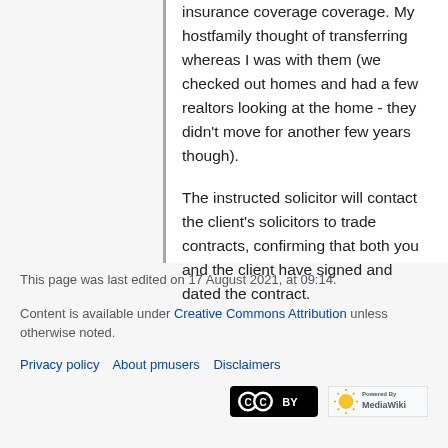insurance coverage coverage. My hostfamily thought of transferring whereas I was with them (we checked out homes and had a few realtors looking at the home - they didn't move for another few years though).

The instructed solicitor will contact the client's solicitors to trade contracts, confirming that both you and the client have signed and dated the contract.
This page was last edited on 17 August 2021, at 09:14.
Content is available under Creative Commons Attribution unless otherwise noted.
Privacy policy   About pmusers   Disclaimers